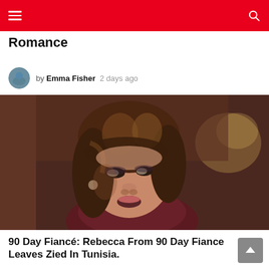Navigation bar with hamburger menu and search icon
Romance
by Emma Fisher  2 days ago
[Figure (photo): Close-up photo of a woman with brown hair and makeup, wearing a dark burgundy top, looking off to the side in an indoor setting with blurred background.]
90 Day Fiancé: Rebecca From 90 Day Fiance Leaves Zied In Tunisia.